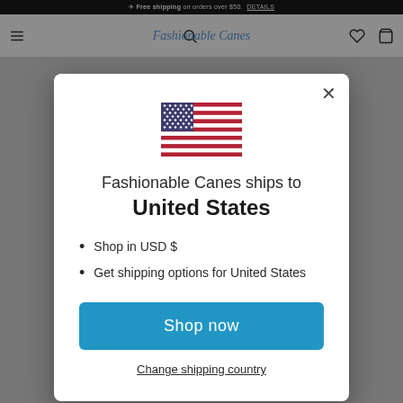Free shipping on orders over $50.  DETAILS
Fashionable Canes
[Figure (screenshot): Modal dialog overlay on Fashionable Canes e-commerce website showing US flag, shipping country selection, bullet points about USD and US shipping, a blue 'Shop now' button, and a 'Change shipping country' link.]
Fashionable Canes ships to United States
Shop in USD $
Get shipping options for United States
Shop now
Change shipping country